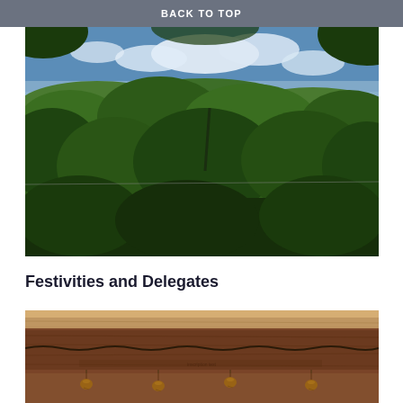BACK TO TOP
[Figure (photo): Outdoor landscape photo showing lush green trees and bushes with a blue sky and distant water/estuary view in the background, taken from an elevated vantage point looking through overhanging tree branches.]
Festivities and Delegates
[Figure (photo): Close-up photo of a weathered wooden beam or plank with small hanging bells attached to it, with fur or textile material visible at the top edge.]